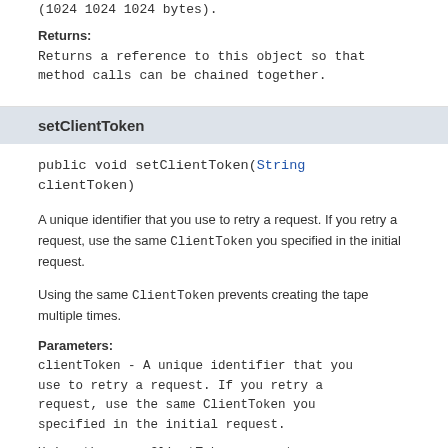(1024 1024 1024 bytes).
Returns:
Returns a reference to this object so that method calls can be chained together.
setClientToken
public void setClientToken(String clientToken)
A unique identifier that you use to retry a request. If you retry a request, use the same ClientToken you specified in the initial request.
Using the same ClientToken prevents creating the tape multiple times.
Parameters:
clientToken - A unique identifier that you use to retry a request. If you retry a request, use the same ClientToken you specified in the initial request.
Using the same ClientToken prevents